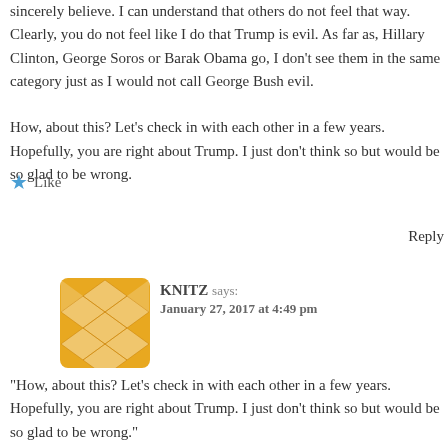sincerely believe. I can understand that others do not feel that way. Clearly, you do not feel like I do that Trump is evil. As far as, Hillary Clinton, George Soros or Barak Obama go, I don't see them in the same category just as I would not call George Bush evil.
How, about this? Let's check in with each other in a few years. Hopefully, you are right about Trump. I just don't think so but would be so glad to be wrong.
Like
Reply
KNITZ says: January 27, 2017 at 4:49 pm
“How, about this? Let's check in with each other in a few years. Hopefully, you are right about Trump. I just don't think so but would be so glad to be wrong.”
As someone who enjoys your blogs but sits on the other side of the political fence, I do appreciate this sentiment from you and wish that this were more prevalent.
Let’s see where we are in a few years…